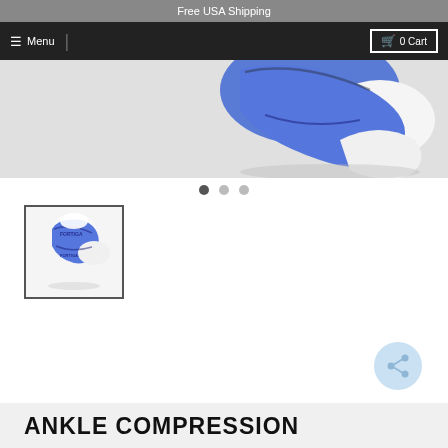Free USA Shipping
≡ Menu | 🛒 0 Cart
[Figure (photo): Close-up of a blue and white ankle compression sock/brace product on a light grey background, showing the top portion of the product.]
[Figure (photo): Carousel navigation dots: one dark (active) and two lighter (inactive)]
[Figure (photo): Thumbnail image of a blue and white ankle compression sock/brace product shown on a foot, inside a bordered box.]
ANKLE COMPRESSION